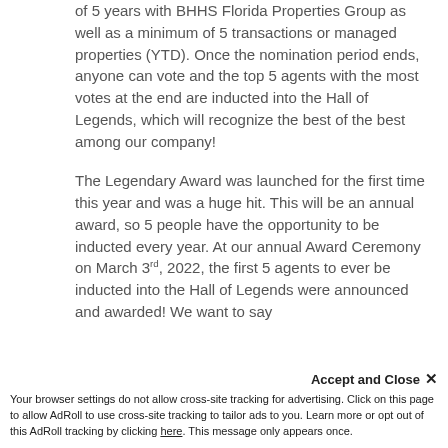of 5 years with BHHS Florida Properties Group as well as a minimum of 5 transactions or managed properties (YTD). Once the nomination period ends, anyone can vote and the top 5 agents with the most votes at the end are inducted into the Hall of Legends, which will recognize the best of the best among our company!
The Legendary Award was launched for the first time this year and was a huge hit. This will be an annual award, so 5 people have the opportunity to be inducted every year. At our annual Award Ceremony on March 3rd, 2022, the first 5 agents to ever be inducted into the Hall of Legends were announced and awarded! We want to say congratulations to these legendary agents with passion, professionalism, and commitment.
Accept and Close ×
Your browser settings do not allow cross-site tracking for advertising. Click on this page to allow AdRoll to use cross-site tracking to tailor ads to you. Learn more or opt out of this AdRoll tracking by clicking here. This message only appears once.